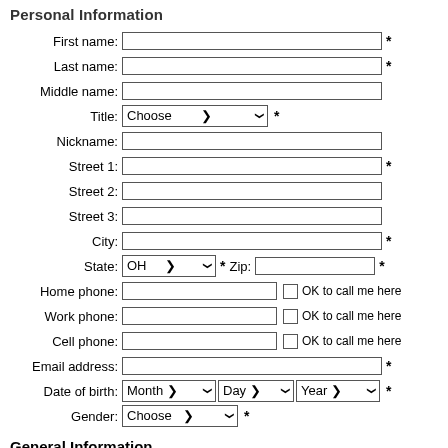Personal Information
First name: [text input] *
Last name: [text input] *
Middle name: [text input]
Title: Choose [dropdown] *
Nickname: [text input]
Street 1: [text input] *
Street 2: [text input]
Street 3: [text input]
City: [text input] *
State: OH [dropdown] * Zip: [text input] *
Home phone: [text input] [ ] OK to call me here
Work phone: [text input] [ ] OK to call me here
Cell phone: [text input] [ ] OK to call me here
Email address: [text input] *
Date of birth: Month [dropdown] Day [dropdown] Year [dropdown] *
Gender: Choose [dropdown] *
General Information